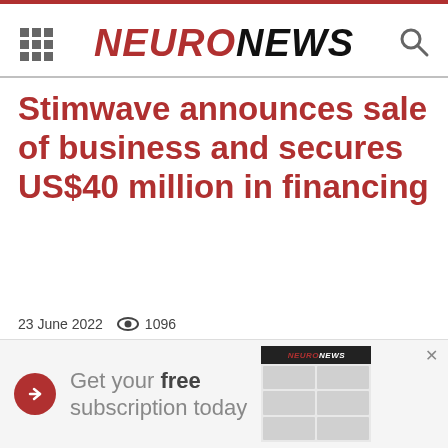NEURONEWS
Stimwave announces sale of business and secures US$40 million in financing
23 June 2022   1096
[Figure (screenshot): Advertisement banner: Get your free subscription today, with NeuroNews logo and magazine image thumbnail]